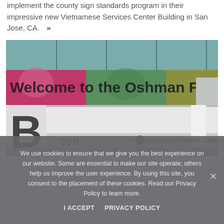implement the county sign standards program in their impressive new Vietnamese Services Center Building in San Jose, CA.  »
[Figure (photo): Photo of colorful welcome signage at the Oshman Family JCC building, showing 'Welcome to the Oshman Family JCC' with colorful panels and directional wayfinding signs including 'Information/Fitness Center' with an arrow]
We use cookies to ensure that we give you the best experience on our website. Some are essential to make our site operate; others help us improve the user experience. By using this site, you consent to the placement of these cookies. Read our Privacy Policy to learn more.
I ACCEPT   PRIVACY POLICY